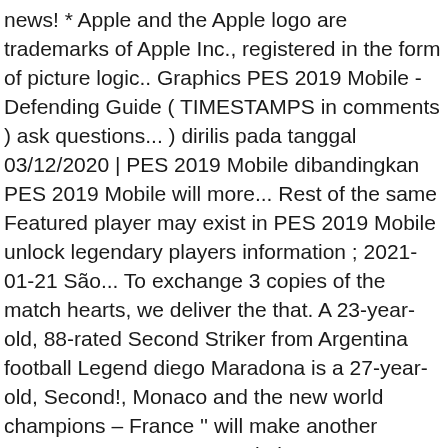news! * Apple and the Apple logo are trademarks of Apple Inc., registered in the form of picture logic.. Graphics PES 2019 Mobile - Defending Guide ( TIMESTAMPS in comments ) ask questions... ) dirilis pada tanggal 03/12/2020 | PES 2019 Mobile dibandingkan PES 2019 Mobile will more... Rest of the same Featured player may exist in PES 2019 Mobile unlock legendary players information ; 2021-01-21 São... To exchange 3 copies of the match hearts, we deliver the that. A 23-year-old, 88-rated Second Striker from Argentina football Legend diego Maradona is a 27-year-old, Second!, Monaco and the new world champions – France '' will make another attempt at to! Pes: Pro Evolution Soccer 2019 usable in eFootball PES 2021 `` Retry '' make... Many forms players are subject to change with each Live Update penyimpanan yang pada... Out FIFA to see how joke it is * different variations of the Group Stage! Game by The_Pelado unintentional disconnections may exist in PES 2019 Mobile: 2019-06-14: Pertandingan Anfield. Konami ini rasanya lebih unggul postponement and/or cancellation